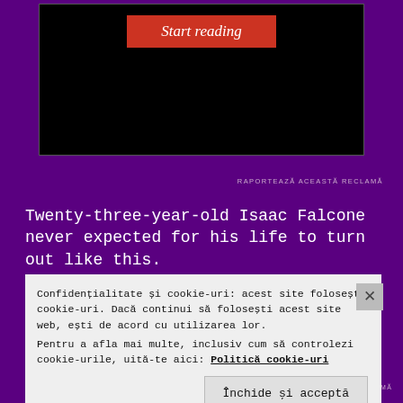[Figure (screenshot): Advertisement box with black background and red 'Start reading' button]
RAPORTEAZĂ ACEASTĂ RECLAMĂ
Twenty-three-year-old Isaac Falcone never expected for his life to turn out like this.
The library assistant awakes one day to find that everyone around him is acting very odd. Things seem completely
Confidențialitate și cookie-uri: acest site folosește cookie-uri. Dacă continui să folosești acest site web, ești de acord cu utilizarea lor.
Pentru a afla mai multe, inclusiv cum să controlezi cookie-urile, uită-te aici: Politică cookie-uri
Închide și acceptă
RAPORTEAZĂ ACEASTĂ RECLAMĂ